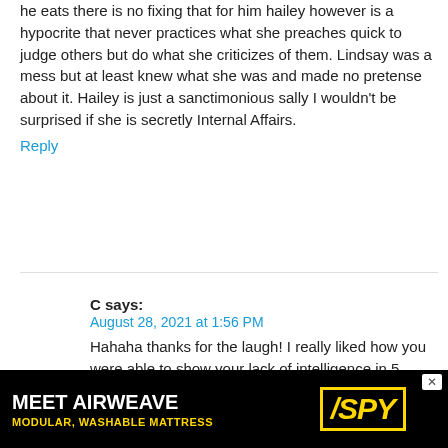he eats there is no fixing that for him hailey however is a hypocrite that never practices what she preaches quick to judge others but do what she criticizes of them. Lindsay was a mess but at least knew what she was and made no pretense about it. Hailey is just a sanctimonious sally I wouldn't be surprised if she is secretly Internal Affairs.
Reply
C says:
August 28, 2021 at 1:56 PM
Hahaha thanks for the laugh! I really liked how you were able to show your lack of intelligence in 5 sentences. Impressive!
Reply
Purlow says:
[Figure (other): Advertisement banner for Airweave - MEET AIRWEAVE MODULAR, WASHABLE MATTRESS with SPY logo in yellow]